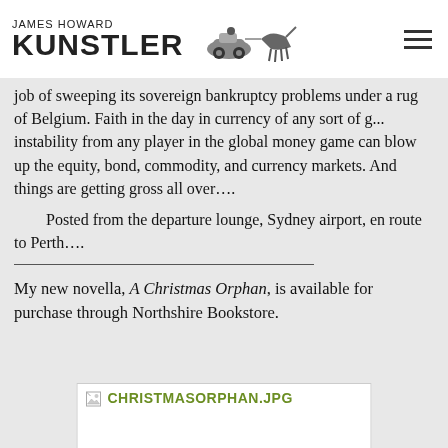JAMES HOWARD KUNSTLER
job of sweeping its sovereign bankruptcy problems under a rug of Belgium. Faith in the day in currency of any sort of g... instability from any player in the global money game can blow up the equity, bond, commodity, and currency markets. And things are getting gross all over….
    Posted from the departure lounge, Sydney airport, en route to Perth….
My new novella, A Christmas Orphan, is available for purchase through Northshire Bookstore.
[Figure (other): Broken image placeholder showing CHRISTMASORPHAN.JPG filename in olive/green text with a broken image icon, on a white background with light border]